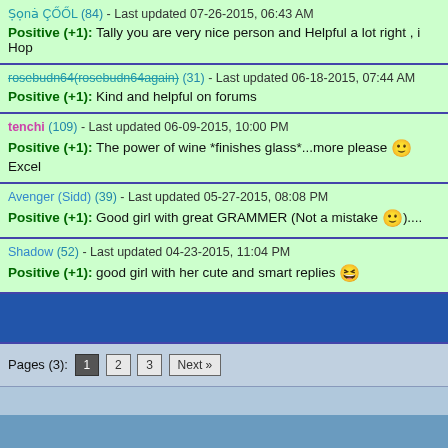Ṣọnȧ ÇŐŐL (84) - Last updated 07-26-2015, 06:43 AM | Positive (+1): Tally you are very nice person and Helpful a lot right , i Hop
rosebudn64(rosebudn64again) (31) - Last updated 06-18-2015, 07:44 AM | Positive (+1): Kind and helpful on forums
tenchi (109) - Last updated 06-09-2015, 10:00 PM | Positive (+1): The power of wine *finishes glass*...more please 🙂 Excel
Avenger (Sidd) (39) - Last updated 05-27-2015, 08:08 PM | Positive (+1): Good girl with great GRAMMER (Not a mistake 🙂)....
Shadow (52) - Last updated 04-23-2015, 11:04 PM | Positive (+1): good girl with her cute and smart replies 😄
Pages (3): 1 2 3 Next »